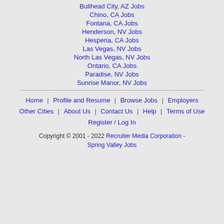Bullhead City, AZ Jobs
Chino, CA Jobs
Fontana, CA Jobs
Henderson, NV Jobs
Hesperia, CA Jobs
Las Vegas, NV Jobs
North Las Vegas, NV Jobs
Ontario, CA Jobs
Paradise, NV Jobs
Sunrise Manor, NV Jobs
Home | Profile and Resume | Browse Jobs | Employers | Other Cities | About Us | Contact Us | Help | Terms of Use | Register / Log In | Copyright © 2001 - 2022 Recruiter Media Corporation - Spring Valley Jobs